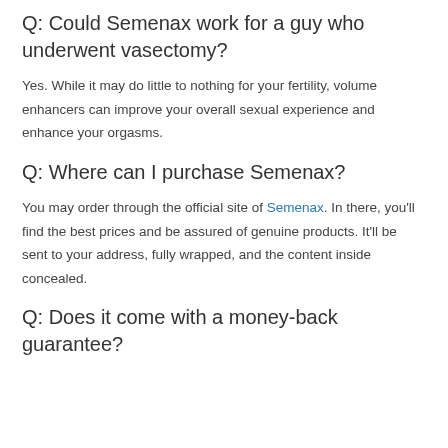Q: Could Semenax work for a guy who underwent vasectomy?
Yes. While it may do little to nothing for your fertility, volume enhancers can improve your overall sexual experience and enhance your orgasms.
Q: Where can I purchase Semenax?
You may order through the official site of Semenax. In there, you’ll find the best prices and be assured of genuine products. It’ll be sent to your address, fully wrapped, and the content inside concealed.
Q: Does it come with a money-back guarantee?